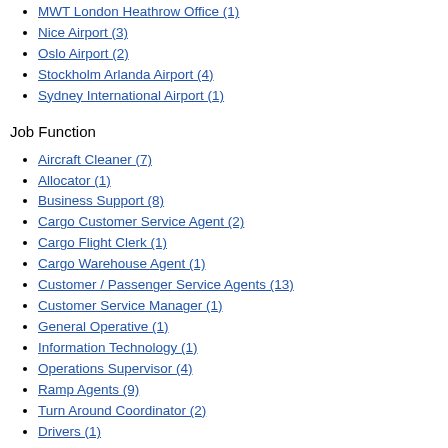MWT London Heathrow Office (1)
Nice Airport (3)
Oslo Airport (2)
Stockholm Arlanda Airport (4)
Sydney International Airport (1)
Job Function
Aircraft Cleaner (7)
Allocator (1)
Business Support (8)
Cargo Customer Service Agent (2)
Cargo Flight Clerk (1)
Cargo Warehouse Agent (1)
Customer / Passenger Service Agents (13)
Customer Service Manager (1)
General Operative (1)
Information Technology (1)
Operations Supervisor (4)
Ramp Agents (9)
Turn Around Coordinator (2)
Drivers (1)
Finance (1)
Human Resources (1)
Information Technology (2)
Operational Management (6)